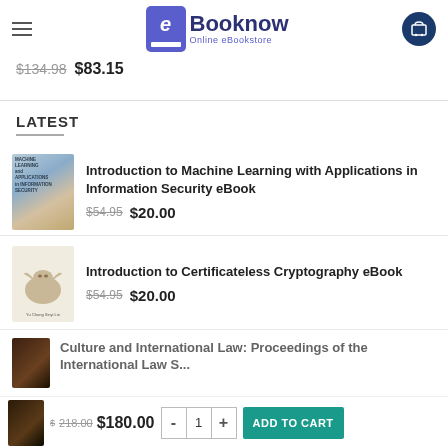Booknow Online eBookstore
$134.98  $83.15
LATEST
Introduction to Machine Learning with Applications in Information Security eBook  $54.95  $20.00
Introduction to Certificateless Cryptography eBook  $54.95  $20.00
Culture and International Law: Proceedings of the International Law...
$218.00  $180.00  - 1 +  ADD TO CART